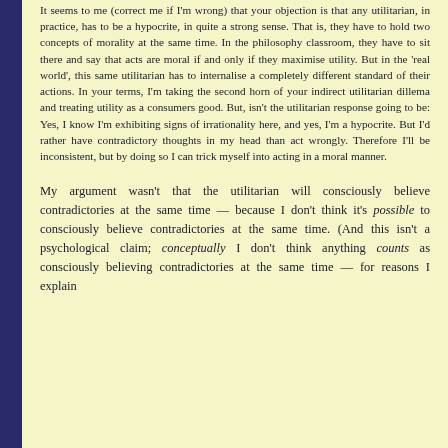It seems to me (correct me if I'm wrong) that your objection is that any utilitarian, in practice, has to be a hypocrite, in quite a strong sense. That is, they have to hold two concepts of morality at the same time. In the philosophy classroom, they have to sit there and say that acts are moral if and only if they maximise utility. But in the 'real world', this same utilitarian has to internalise a completely different standard of their actions. In your terms, I'm taking the second horn of your indirect utilitarian dillema and treating utility as a consumers good. But, isn't the utilitarian response going to be: Yes, I know I'm exhibiting signs of irrationality here, and yes, I'm a hypocrite. But I'd rather have contradictory thoughts in my head than act wrongly. Therefore I'll be inconsistent, but by doing so I can trick myself into acting in a moral manner.
My argument wasn't that the utilitarian will consciously believe contradictories at the same time — because I don't think it's possible to consciously believe contradictories at the same time. (And this isn't a psychological claim; conceptually I don't think anything counts as consciously believing contradictories at the same time — for reasons I explain